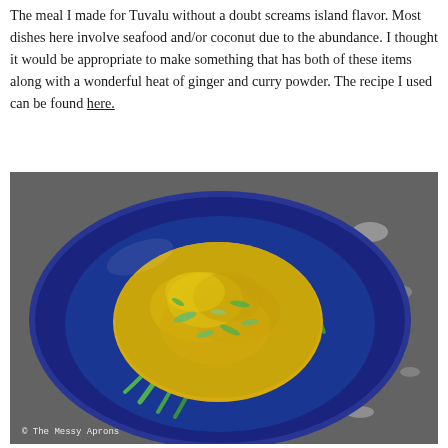The meal I made for Tuvalu without a doubt screams island flavor. Most dishes here involve seafood and/or coconut due to the abundance. I thought it would be appropriate to make something that has both of these items along with a wonderful heat of ginger and curry powder. The recipe I used can be found here.
[Figure (photo): A blue plate with yellow coconut curry fish served over white rice with green beans and scallions, photographed from above on a gray surface. Watermark reads '© The Messy Aprons'.]